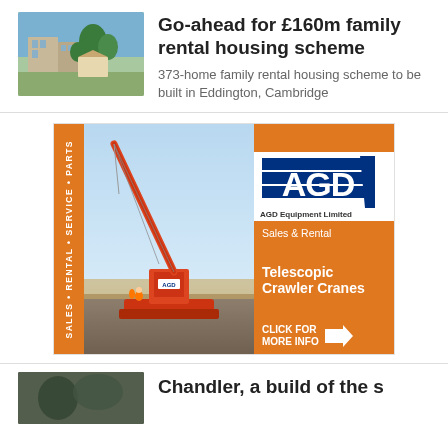[Figure (photo): Rendering of family rental housing development in Eddington, Cambridge — modern low-rise buildings with trees]
Go-ahead for £160m family rental housing scheme
373-home family rental housing scheme to be built in Eddington, Cambridge
[Figure (other): Advertisement for AGD Equipment Limited — telescopic crawler cranes, sales and rental, orange branded banner ad with crane photo]
[Figure (photo): Partial bottom article image — dark photo partially visible]